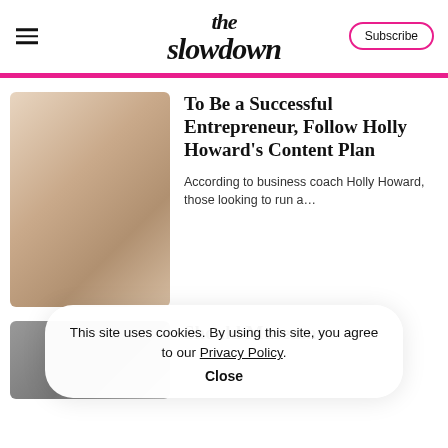the slowdown
Subscribe
To Be a Successful Entrepreneur, Follow Holly Howard's Content Plan
According to business coach Holly Howard, those looking to run a...
This site uses cookies. By using this site, you agree to our Privacy Policy. Close
Should Museums